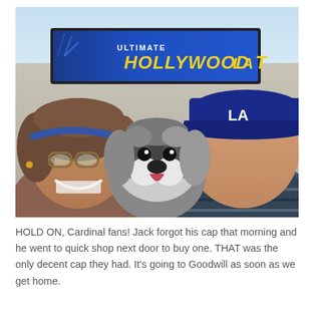[Figure (photo): Selfie photo of two people and a Shih Tzu dog in front of a sign reading 'ULTIMATE HOLLYWOOD TOUR'. The woman on the left wears glasses and a blue headband. The man on the right wears a blue LA Dodgers baseball cap and a striped shirt. The dog is in the middle with its tongue out.]
HOLD ON, Cardinal fans! Jack forgot his cap that morning and he went to quick shop next door to buy one. THAT was the only decent cap they had. It's going to Goodwill as soon as we get home.